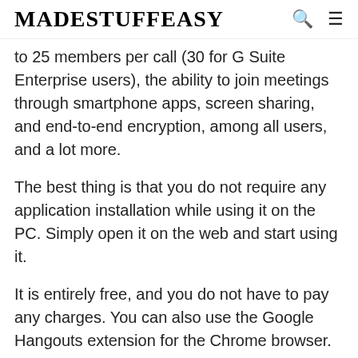MADESTUFFEASY
to 25 members per call (30 for G Suite Enterprise users), the ability to join meetings through smartphone apps, screen sharing, and end-to-end encryption, among all users, and a lot more.
The best thing is that you do not require any application installation while using it on the PC. Simply open it on the web and start using it.
It is entirely free, and you do not have to pay any charges. You can also use the Google Hangouts extension for the Chrome browser.
8. Wire